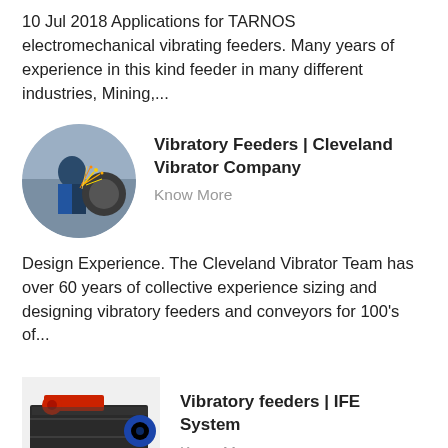10 Jul 2018 Applications for TARNOS electromechanical vibrating feeders. Many years of experience in this kind feeder in many different industries, Mining,...
[Figure (photo): Circular photo of an industrial worker using grinding/polishing equipment with sparks flying, metal machinery visible]
Vibratory Feeders | Cleveland Vibrator Company
Know More
Design Experience. The Cleveland Vibrator Team has over 60 years of collective experience sizing and designing vibratory feeders and conveyors for 100's of...
[Figure (photo): Rectangular photo of a large industrial vibratory feeder machine in dark grey/black with red and blue motor components]
Vibratory feeders | IFE System
Know More
With a robust design and a long life span, it is a very